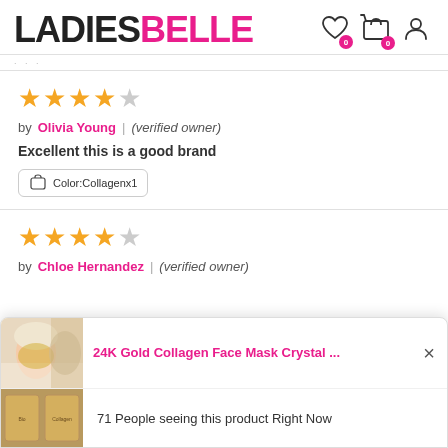LADIESBELLE
★★★★☆ by Olivia Young | (verified owner)
Excellent this is a good brand
Color:Collagenx1
★★★★☆ by Chloe Hernandez | (verified owner)
[Figure (screenshot): Popup notification showing 24K Gold Collagen Face Mask Crystal product with text: 71 People seeing this product Right Now]